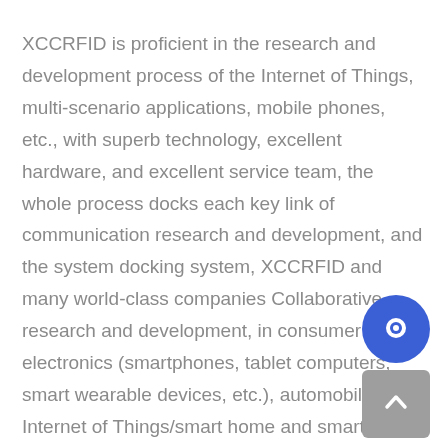XCCRFID is proficient in the research and development process of the Internet of Things, multi-scenario applications, mobile phones, etc., with superb technology, excellent hardware, and excellent service team, the whole process docks each key link of communication research and development, and the system docking system, XCCRFID and many world-class companies Collaborative research and development, in consumer electronics (smartphones, tablet computers, smart wearable devices, etc.), automobiles, Internet of Things/smart home and smart security, enterprise and other fields, provide professional services to customers, and establish strategic partnerships.